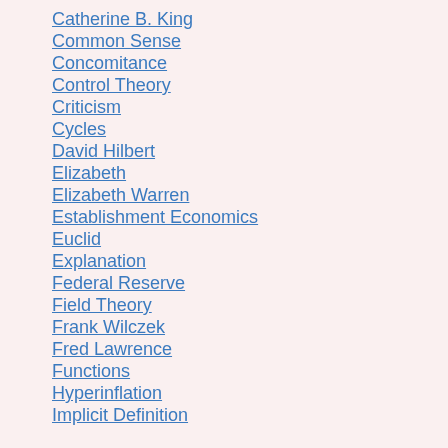Catherine B. King
Common Sense
Concomitance
Control Theory
Criticism
Cycles
David Hilbert
Elizabeth
Elizabeth Warren
Establishment Economics
Euclid
Explanation
Federal Reserve
Field Theory
Frank Wilczek
Fred Lawrence
Functions
Hyperinflation
Implicit Definition